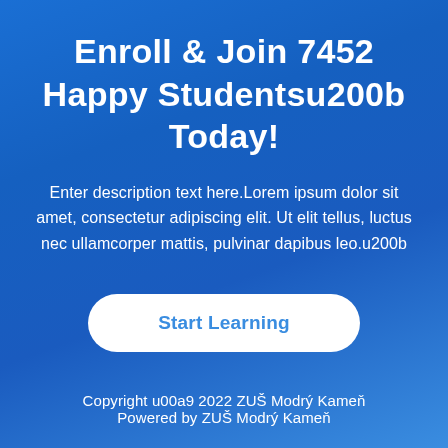Enroll & Join 7452 Happy Studentsu200b Today!
Enter description text here.Lorem ipsum dolor sit amet, consectetur adipiscing elit. Ut elit tellus, luctus nec ullamcorper mattis, pulvinar dapibus leo.u200b
Start Learning
Copyright u00a9 2022 ZUŠ Modrý Kameň
Powered by ZUŠ Modrý Kameň